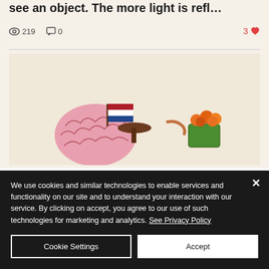see an object. The more light is refl…
219 views · 0 comments · 3 likes
[Figure (illustration): Illustration of a brain with a Dutch flag on a bicycle seat with orange flowers in a basket, on a beige/tan background]
We use cookies and similar technologies to enable services and functionality on our site and to understand your interaction with our service. By clicking on accept, you agree to our use of such technologies for marketing and analytics. See Privacy Policy
Cookie Settings
Accept